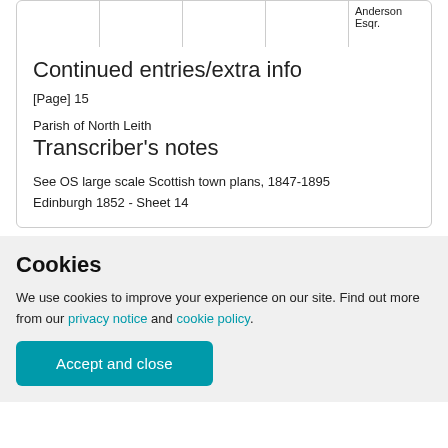|  |  |  |  | Anderson Esqr. |
Continued entries/extra info
[Page] 15
Parish of North Leith
Transcriber's notes
See OS large scale Scottish town plans, 1847-1895
Edinburgh 1852 - Sheet 14
Cookies
We use cookies to improve your experience on our site. Find out more from our privacy notice and cookie policy.
Accept and close